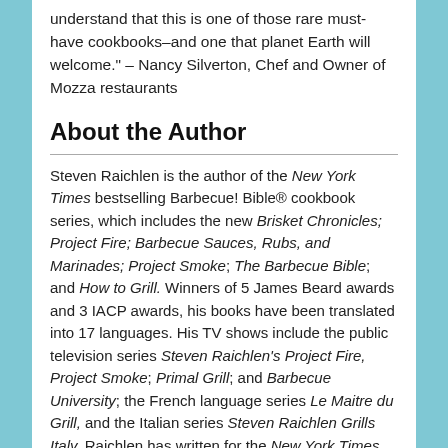understand that this is one of those rare must-have cookbooks–and one that planet Earth will welcome." – Nancy Silverton, Chef and Owner of Mozza restaurants
About the Author
Steven Raichlen is the author of the New York Times bestselling Barbecue! Bible® cookbook series, which includes the new Brisket Chronicles; Project Fire; Barbecue Sauces, Rubs, and Marinades; Project Smoke; The Barbecue Bible; and How to Grill. Winners of 5 James Beard awards and 3 IACP awards, his books have been translated into 17 languages. His TV shows include the public television series Steven Raichlen's Project Fire, Project Smoke; Primal Grill; and Barbecue University; the French language series Le Maitre du Grill, and the Italian series Steven Raichlen Grills Italy. Raichlen has written for the New York Times, Esquire, and all the food magazines; and is the founder and dean of Barbecue University. In 2015, he was inducted into the Barbecue Hall of Fame. His website is www.barbecuebible.com.